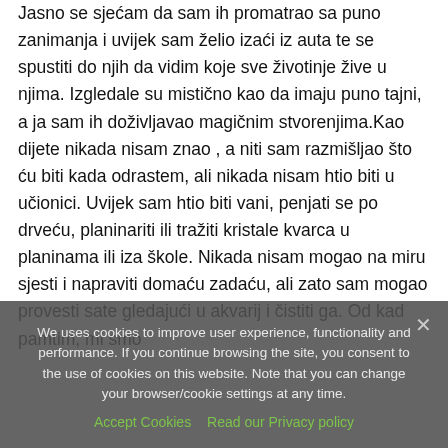Jasno se sjećam da sam ih promatrao sa puno zanimanja i uvijek sam želio izaći iz auta te se spustiti do njih da vidim koje sve životinje žive u njima. Izgledale su mistično kao da imaju puno tajni, a ja sam ih doživljavao magičnim stvorenjima.Kao dijete nikada nisam znao , a niti sam razmišljao što ću biti kada odrastem, ali nikada nisam htio biti u učionici. Uvijek sam htio biti vani, penjati se po drveću, planinariti ili tražiti kristale kvarca u planinama ili iza škole. Nikada nisam mogao na miru sjesti i napraviti domaću zadaću, ali zato sam mogao provesti sate gledajući u akvarij i čistiti ga. Od kad pamtim, mi smo
We uses cookies to improve user experience, functionality and performance. If you continue browsing the site, you consent to the use of cookies on this website. Note that you can change your browser/cookie settings at any time.
Accept Cookies   Read our Privacy policy